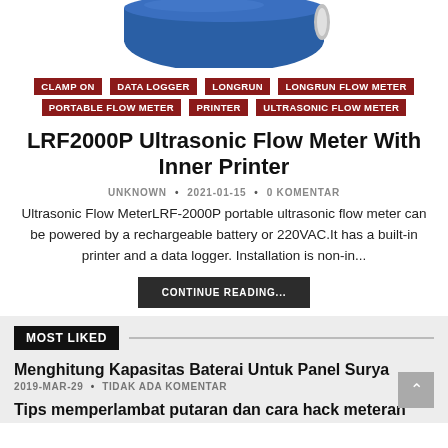[Figure (photo): Partial view of a blue cylindrical device (ultrasonic flow meter) on white background]
CLAMP ON
DATA LOGGER
LONGRUN
LONGRUN FLOW METER
PORTABLE FLOW METER
PRINTER
ULTRASONIC FLOW METER
LRF2000P Ultrasonic Flow Meter With Inner Printer
UNKNOWN • 2021-01-15 • 0 KOMENTAR
Ultrasonic Flow MeterLRF-2000P portable ultrasonic flow meter can be powered by a rechargeable battery or 220VAC.It has a built-in printer and a data logger. Installation is non-in...
CONTINUE READING...
MOST LIKED
Menghitung Kapasitas Baterai Untuk Panel Surya
2019-MAR-29 • TIDAK ADA KOMENTAR
Tips memperlambat putaran dan cara hack meteran